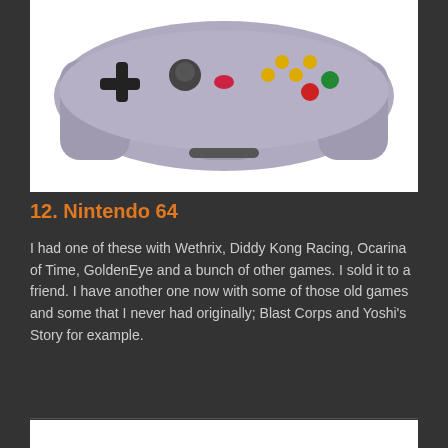[Figure (photo): Nintendo 64 controller, gray/purple colored, viewed from above]
12. Nintendo 64
I had one of these with Wethrix, Diddy Kong Racing, Ocarina of Time, GoldenEye and a bunch of other games. I sold it to a friend. I have another one now with some of those old games and some that I never had originally; Blast Corps and Yoshi's Story for example.
[Figure (photo): Sega Dreamcast console (white) with controller, and the Dreamcast swirl logo in orange]